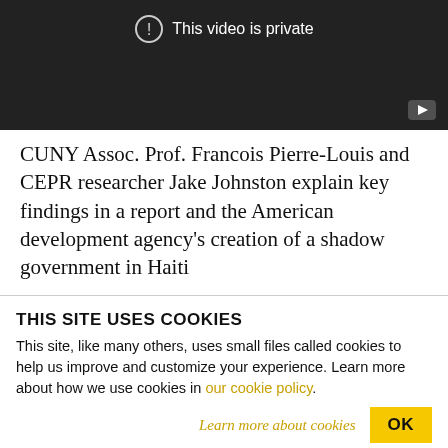[Figure (screenshot): Video player showing 'This video is private' message with exclamation icon and YouTube play button]
CUNY Assoc. Prof. Francois Pierre-Louis and CEPR researcher Jake Johnston explain key findings in a report and the American development agency's creation of a shadow government in Haiti
THIS SITE USES COOKIES
This site, like many others, uses small files called cookies to help us improve and customize your experience. Learn more about how we use cookies in our cookie policy.
Learn more about cookies   OK